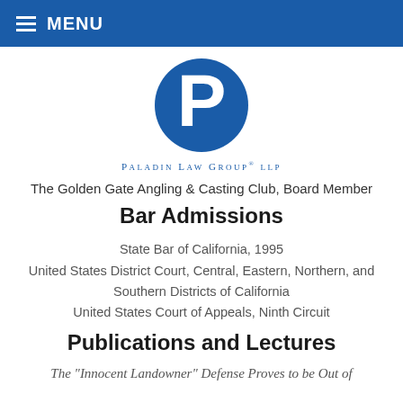MENU
[Figure (logo): Paladin Law Group LLP circular blue P logo with firm name below]
The Golden Gate Angling & Casting Club, Board Member
Bar Admissions
State Bar of California, 1995
United States District Court, Central, Eastern, Northern, and Southern Districts of California
United States Court of Appeals, Ninth Circuit
Publications and Lectures
The "Innocent Landowner" Defense Proves to be Out of